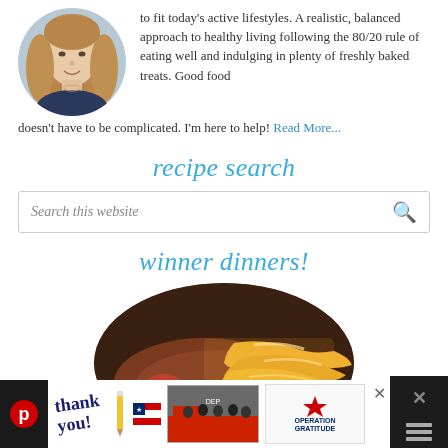[Figure (photo): Circular cropped headshot of a woman with long blonde-brown hair, wearing a dark top, smiling.]
to fit today's active lifestyles. A realistic, balanced approach to healthy living following the 80/20 rule of eating well and indulging in plenty of freshly baked treats. Good food doesn't have to be complicated. I'm here to help! Read More...
recipe search
Search this website
winner dinners!
[Figure (photo): Circular cropped photo of a food dish showing shredded cheese on top of meat and vegetables including a green jalapeño, on a dark plate.]
[Figure (photo): Advertisement banner at bottom: Thank You image with firefighters and Operation Gratitude logo.]